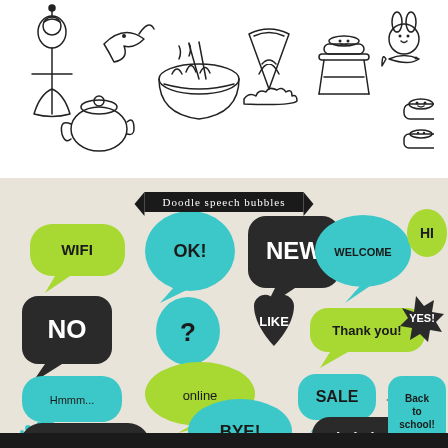[Figure (illustration): Doodle/sketch style Japanese-themed icons including: geisha girl in kimono, dolphin/shark, ramen bowl, fan with Mount Fuji, sushi on plate, torii gate, rabbit holding fish, teapot, clouds, chopsticks, sushi pieces]
[Figure (illustration): Doodle speech bubbles collection on beige background. Banner reads 'Doodle speech bubbles'. Various colored (green, teal, black/dark) speech bubbles containing words: WIFI, OK!, NEW, WELCOME, HI, NO, ?, LIKE, Thank you!, YES!, Hmmm..., online, SALE, WOW, Back to school!, HELLO, BYE!, hohoho]